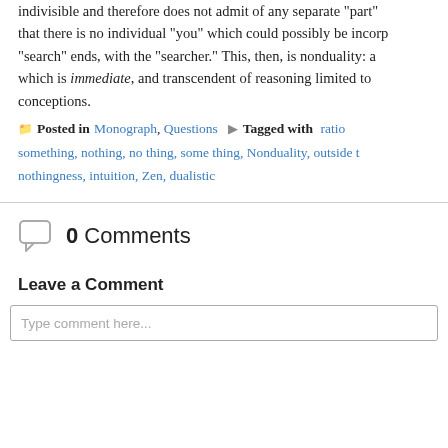indivisible and therefore does not admit of any separate "part" that there is no individual "you" which could possibly be incorporated. "search" ends, with the "searcher." This, then, is nonduality: an which is immediate, and transcendent of reasoning limited to conceptions.
Posted in Monograph, Questions   Tagged with rati something, nothing, no thing, some thing, Nonduality, outside t nothingness, intuition, Zen, dualistic
0 Comments
Leave a Comment
Type comment here...